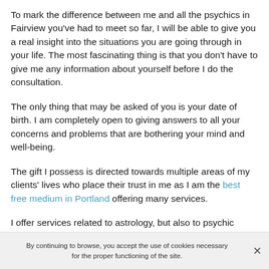To mark the difference between me and all the psychics in Fairview you've had to meet so far, I will be able to give you a real insight into the situations you are going through in your life. The most fascinating thing is that you don't have to give me any information about yourself before I do the consultation.
The only thing that may be asked of you is your date of birth. I am completely open to giving answers to all your concerns and problems that are bothering your mind and well-being.
The gift I possess is directed towards multiple areas of my clients' lives who place their trust in me as I am the best free medium in Portland offering many services.
I offer services related to astrology, but also to psychic
By continuing to browse, you accept the use of cookies necessary for the proper functioning of the site.